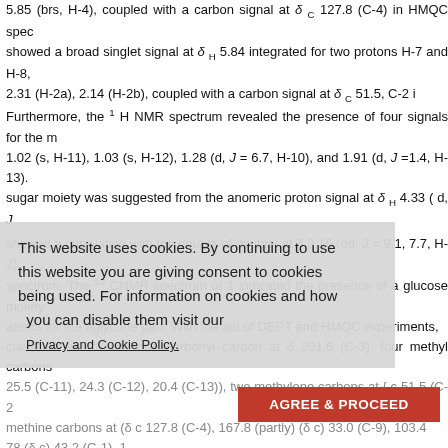5.85 (brs, H-4), coupled with a carbon signal at δ C 127.8 (C-4) in HMQC spec showed a broad singlet signal at δ H 5.84 integrated for two protons H-7 and H-8, 2.31 (H-2a), 2.14 (H-2b), coupled with a carbon signal at δ C 51.5, C-2 i Furthermore, the 1 H NMR spectrum revealed the presence of four signals for the m 1.02 (s, H-11), 1.03 (s, H-12), 1.28 (d, J = 6.7, H-10), and 1.91 (d, J =1.4, H-13). sugar moiety was suggested from the anomeric proton signal at δ H 4.33 ( d, J showed a correlation with the double of doublet at δ 3.16 (dd, J = 9.1, 7.7, H-2 spectrum. The 13 CNMR spectrum of 1 indicated the presence of a glucose moiety atoms for the aglycone part. With the aid of DEPT and HMQC experiments, classified as follows: one carbonyl carbon at δ 201.6 (C-3), four methyl carbons 25.5 (C-11), 24.3 (C-12), 20.4 (C-13)), two methylene carbons at δ c 51.5 (C-2 methine carbons at (δ c 127.8 (C-4), 167.8 (partly) (δ c) 33.0 (C-9), 103.4 78 (δ c) 43.2 (C-1), 1 6) Confirmation of compound 1 was given by the HMBC analysis, the most importa observed correlations: H-1 (δ 51, d) and C-1 (δ 43.2), C-11 (δ 25.5), C-12 (δ 24. and C-3 (δ 201.6), C-4 (δ 127.8), C-6 (δ 80.7); H-4 (5.85, br s) and C-2 (δ 51.5), 5.84, br s) and C-6 (δ 78.0), H-8 (δ 78.0 ), H-8 (5.84, br s) and C 78.0 ); H-10 (1.28, d) and C-9 (δ 78.0), C-8 (δ 135.8); H-11 (25.5, s) and C- 1 (δ 4 C-6 (δ 80.7), C-2 (δ 51.5); H-12 (1.03, s) and C-11 (δ 25.5), C-1( δ 43.2), C-6 (δ H-13 (1.91, d) and C- 4 (δ 127.8), C-5 (δ 167.8), C-6 (δ 80.7); H-1` (4.33, d) and
This website uses cookies. By continuing to use this website you are giving consent to cookies being used. For information on cookies and how you can disable them visit our Privacy and Cookie Policy.